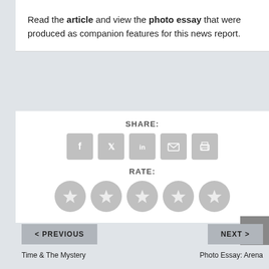Read the article and view the photo essay that were produced as companion features for this news report.
[Figure (infographic): Share icons row: Facebook, Twitter, LinkedIn, Email, Print. Below: Rate section with five star rating icons. Below right: Back to top arrow button.]
[Figure (infographic): Navigation buttons: < PREVIOUS and NEXT >]
Time & The Mystery
Photo Essay: Arena